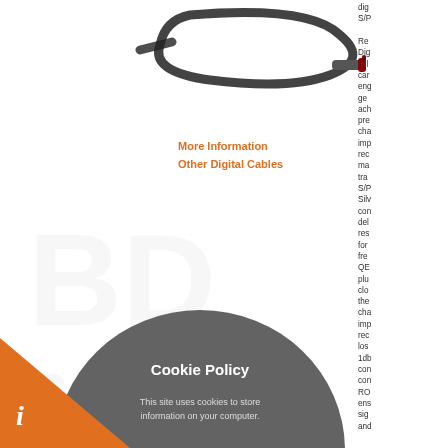[Figure (photo): Black digital coaxial cable with RCA connector, coiled on white background]
More Information
Other Digital Cables
[Figure (logo): Watermark logo in background, semi-transparent]
[Figure (screenshot): Cookie Policy modal popup with gray circular background, text 'This site uses cookies to store information on your computer.', Read More link, Happy to accept? prompt with green checkmark and orange X buttons]
dig S/P Re Dig util car eng ge ach pre cha im rec ma tra S/P Silv con del res for fre QE plu clo the cha im re lo 1d co co RC en sig an